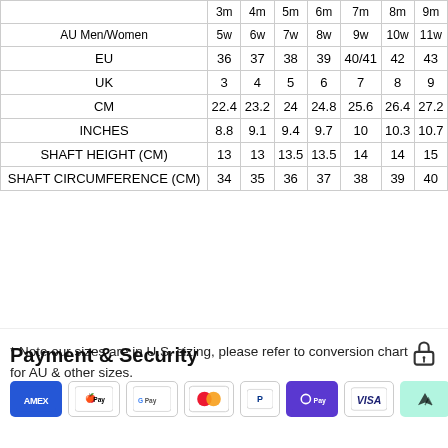|  | 3m/5w | 4m/6w | 5m/7w | 6m/8w | 7m/9w | 8m/10w | 9m/11w |
| --- | --- | --- | --- | --- | --- | --- | --- |
| AU Men/Women | 3m 5w | 4m 6w | 5m 7w | 6m 8w | 7m 9w | 8m 10w | 9m 11w |
| EU | 36 | 37 | 38 | 39 | 40/41 | 42 | 43 |
| UK | 3 | 4 | 5 | 6 | 7 | 8 | 9 |
| CM | 22.4 | 23.2 | 24 | 24.8 | 25.6 | 26.4 | 27.2 |
| INCHES | 8.8 | 9.1 | 9.4 | 9.7 | 10 | 10.3 | 10.7 |
| SHAFT HEIGHT (CM) | 13 | 13 | 13.5 | 13.5 | 14 | 14 | 15 |
| SHAFT CIRCUMFERENCE (CM) | 34 | 35 | 36 | 37 | 38 | 39 | 40 |
* Note our sizes are in U.S. sizing, please refer to conversion chart for AU & other sizes.
Payment & Security
[Figure (other): Payment method icons: American Express, Apple Pay, Google Pay, Mastercard, PayPal, OPay, Visa, Afterpay]